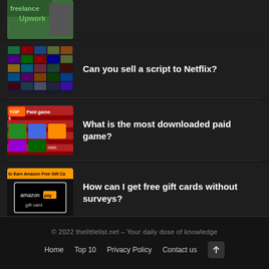[Figure (screenshot): Partial thumbnail showing Freelance/Upwork image, partially cropped at top]
Can you sell a script to Netflix?
What is the most downloaded paid game?
How can I get free gift cards without surveys?
© 2022 thelittlelist.net – Your daily dose of knowledge
Home  Top 10  Privacy Policy  Contact us